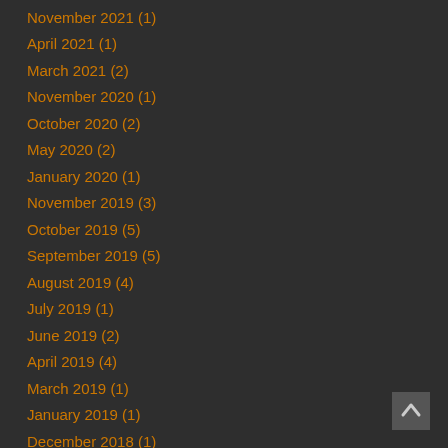November 2021 (1)
April 2021 (1)
March 2021 (2)
November 2020 (1)
October 2020 (2)
May 2020 (2)
January 2020 (1)
November 2019 (3)
October 2019 (5)
September 2019 (5)
August 2019 (4)
July 2019 (1)
June 2019 (2)
April 2019 (4)
March 2019 (1)
January 2019 (1)
December 2018 (1)
October 2018 (4)
September 2018 (2)
July 2018 (1)
June 2018 (3)